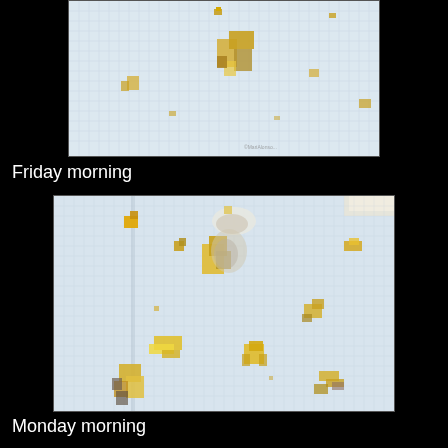[Figure (photo): Close-up photo of a white/light blue fabric or paper with yellow, golden and grey geometric shapes/blocks scattered across it, on a grid-like background. Partial view, cropped at top.]
Friday morning
[Figure (photo): Photo of a white/light blue fabric square with yellow, golden and grey geometric block shapes scattered across it, laid on a grey textured surface. The fabric has fold lines visible.]
Monday morning